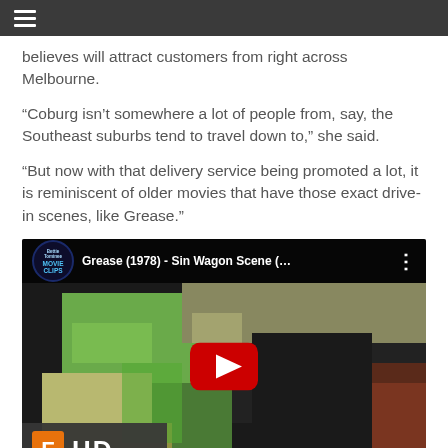☰
believes will attract customers from right across Melbourne.
“Coburg isn’t somewhere a lot of people from, say, the Southeast suburbs tend to travel down to,” she said.
“But now with that delivery service being promoted a lot, it is reminiscent of older movies that have those exact drive-in scenes, like Grease.”
[Figure (screenshot): YouTube video thumbnail for 'Grease (1978) - Sin Wagon Scene (...' from the Bettie Tominee Movie Clips channel. Shows a scene from the movie with a woman in a green dress and a man in a leather jacket leaning on a red car. The video has a red play button overlay and an FHD badge in the bottom left corner.]